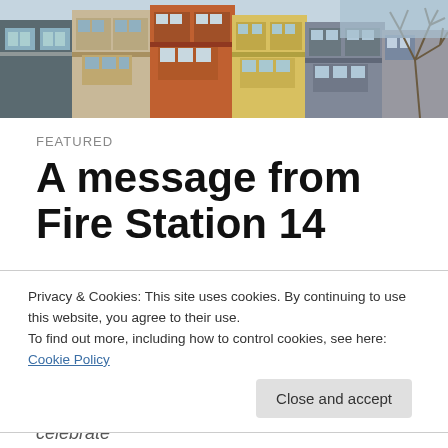[Figure (photo): Header photo showing colorful row houses/townhouses with bay windows and a bare tree against a sky background]
FEATURED
A message from Fire Station 14
Fire Station 14 is hosting an open house on October 22, 2016 from 12pm to 5pm. This event is open to the public. It is a chance to showcase 14's fire station, fire trucks and
Privacy & Cookies: This site uses cookies. By continuing to use this website, you agree to their use.
To find out more, including how to control cookies, see here: Cookie Policy
food to eat as well. This is also a great way to celebrate